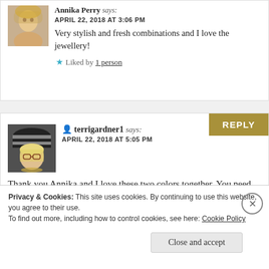Annika Perry says:
APRIL 22, 2018 AT 3:06 PM
Very stylish and fresh combinations and I love the jewellery!
★ Liked by 1 person
terrigardner1 says:
APRIL 22, 2018 AT 5:05 PM
Thank you Annika and I love these two colors together. You need drop
Privacy & Cookies: This site uses cookies. By continuing to use this website, you agree to their use.
To find out more, including how to control cookies, see here: Cookie Policy
Close and accept